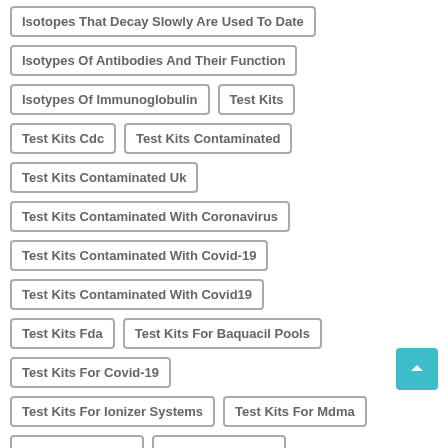Isotopes That Decay Slowly Are Used To Date
Isotypes Of Antibodies And Their Function
Isotypes Of Immunoglobulin
Test Kits
Test Kits Cdc
Test Kits Contaminated
Test Kits Contaminated Uk
Test Kits Contaminated With Coronavirus
Test Kits Contaminated With Covid-19
Test Kits Contaminated With Covid19
Test Kits Fda
Test Kits For Baquacil Pools
Test Kits For Covid-19
Test Kits For Ionizer Systems
Test Kits For Mdma